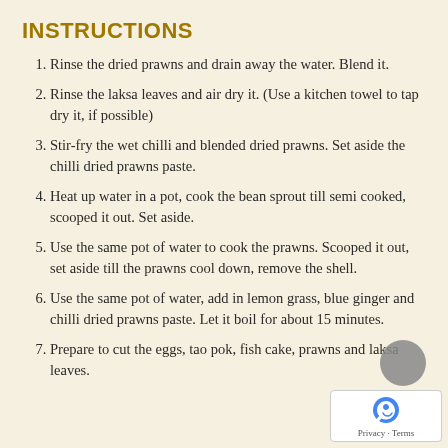INSTRUCTIONS
Rinse the dried prawns and drain away the water. Blend it.
Rinse the laksa leaves and air dry it. (Use a kitchen towel to tap dry it, if possible)
Stir-fry the wet chilli and blended dried prawns. Set aside the chilli dried prawns paste.
Heat up water in a pot, cook the bean sprout till semi cooked, scooped it out. Set aside.
Use the same pot of water to cook the prawns. Scooped it out, set aside till the prawns cool down, remove the shell.
Use the same pot of water, add in lemon grass, blue ginger and chilli dried prawns paste. Let it boil for about 15 minutes.
Prepare to cut the eggs, tao pok, fish cake, prawns and laksa leaves.